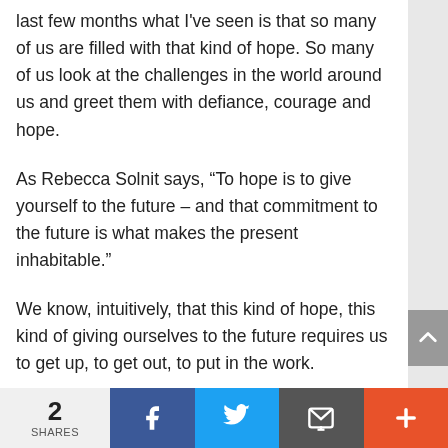last few months what I've seen is that so many of us are filled with that kind of hope. So many of us look at the challenges in the world around us and greet them with defiance, courage and hope.
As Rebecca Solnit says, “To hope is to give yourself to the future – and that commitment to the future is what makes the present inhabitable.”
We know, intuitively, that this kind of hope, this kind of giving ourselves to the future requires us to get up, to get out, to put in the work.
2 SHARES  [Facebook] [Twitter] [Email] [+]